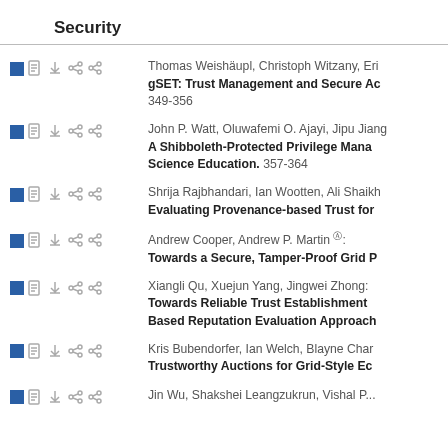Security
Thomas Weishäupl, Christoph Witzany, Eri... gSET: Trust Management and Secure Ac... 349-356
John P. Watt, Oluwafemi O. Ajayi, Jipu Jiang... A Shibboleth-Protected Privilege Mana... Science Education. 357-364
Shrija Rajbhandari, Ian Wootten, Ali Shaikh... Evaluating Provenance-based Trust for...
Andrew Cooper, Andrew P. Martin: Towards a Secure, Tamper-Proof Grid P...
Xiangli Qu, Xuejun Yang, Jingwei Zhong: Towards Reliable Trust Establishment... Based Reputation Evaluation Approach...
Kris Bubendorfer, Ian Welch, Blayne Char... Trustworthy Auctions for Grid-Style Ec...
Jin Wu, Shakshei Leangzukrun, Vishal P...